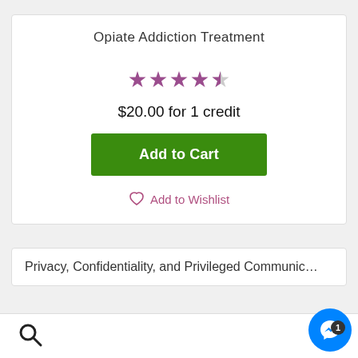Opiate Addiction Treatment
[Figure (other): 4.5 star rating displayed with filled and half-filled purple stars]
$20.00 for 1 credit
Add to Cart
Add to Wishlist
Privacy, Confidentiality, and Privileged Communic…
[Figure (other): Search icon (magnifying glass)]
[Figure (other): Shopping cart icon with badge showing 1]
[Figure (other): Facebook Messenger floating button]